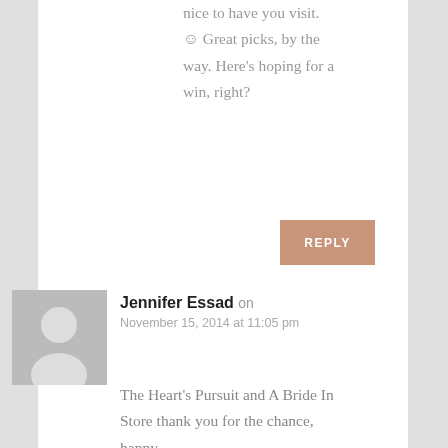nice to have you visit. ☺ Great picks, by the way. Here's hoping for a win, right?
REPLY
Jennifer Essad on
November 15, 2014 at 11:05 pm
The Heart's Pursuit and A Bride In Store thank you for the chance, happy